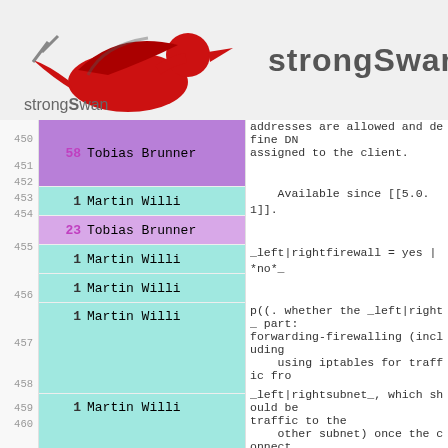strongSwan
| line | count | author | code |
| --- | --- | --- | --- |
| 450 | 58 | Tobias Brunner | addresses are allowed and define DN assigned to the client. |
| 451 | 1 | Martin Willi |     Available since [[5.0.1]]. |
| 452 | 23 | Tobias Brunner |  |
| 453 | 1 | Martin Willi | _left|rightfirewall = yes | *no*_ |
| 454 | 1 | Martin Willi |  |
| 455 | 1 | Martin Willi | p((. whether the _left|right_ part: forwarding-firewalling (including     using iptables for traffic fro |
| 456 | 1 | Martin Willi | _left|rightsubnet_, which should be traffic to the     other subnet) once the connect |
| 457 | 1 | Martin Willi | established. May not be used in the connection description with     _left|rightupdown_. Implemente |
| 458 | 1 | Martin Willi | parameter to the default _ipsec _up Relevant only |
| 459 | 1 | Martin Willi |     locally, other end need not ag |
| 460 | 23 | Tobias Brunner |  |
|  |  |  | p((. If one or both security gate |